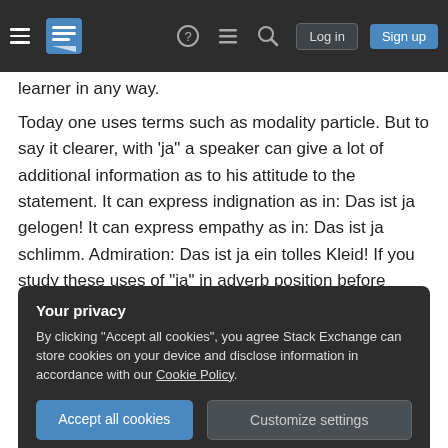Stack Exchange navigation bar with logo, help, chat, search, Log in, Sign up
learner in any way.
Today one uses terms such as modality particle. But to say it clearer, with 'ja" a speaker can give a lot of additional information as to his attitude to the statement. It can express indignation as in: Das ist ja gelogen! It can express empathy as in: Das ist ja schlimm. Admiration: Das ist ja ein tolles Kleid! If you study these uses of "ja" in adverb position before adjectives or verb forms you will find that it can express quite a lot of emotions of the speaker
Your privacy
By clicking "Accept all cookies", you agree Stack Exchange can store cookies on your device and disclose information in accordance with our Cookie Policy.
Accept all cookies  Customize settings
In a lot of cases one could explain this special use